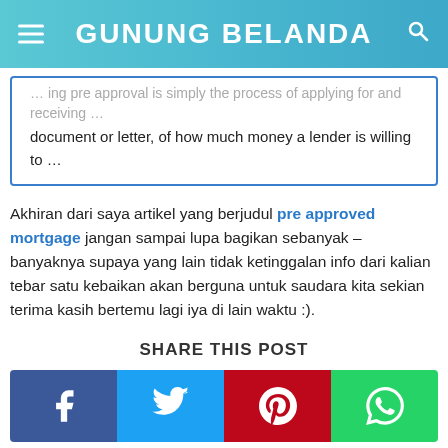GUNUNG BELANDA
document or letter, of how much money a lender is willing to …
Akhiran dari saya artikel yang berjudul pre approved mortgage jangan sampai lupa bagikan sebanyak – banyaknya supaya yang lain tidak ketinggalan info dari kalian tebar satu kebaikan akan berguna untuk saudara kita sekian terima kasih bertemu lagi iya di lain waktu :).
SHARE THIS POST
[Figure (infographic): Row of four social share buttons: Facebook (dark blue), Twitter (light blue), Pinterest (red), WhatsApp (green), each with their respective white icon]
0 RESPONSE TO "PRE APPROVED MORTGAGE"